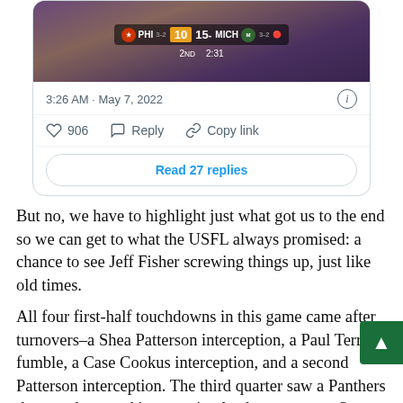[Figure (screenshot): Tweet screenshot showing a football game scoreboard with PHI 10 vs MICH 15, 2nd quarter 2:31 remaining, dated 3:26 AM · May 7, 2022, with 906 likes, Reply and Copy link options, and a Read 27 replies button]
But no, we have to highlight just what got us to the end so we can get to what the USFL always promised: a chance to see Jeff Fisher screwing things up, just like old times.
All four first-half touchdowns in this game came after turnovers–a Shea Patterson interception, a Paul Terry fumble, a Case Cookus interception, and a second Patterson interception. The third quarter saw a Panthers three-and-out and interception lead to two more Stars field goals, giving them a 23-17